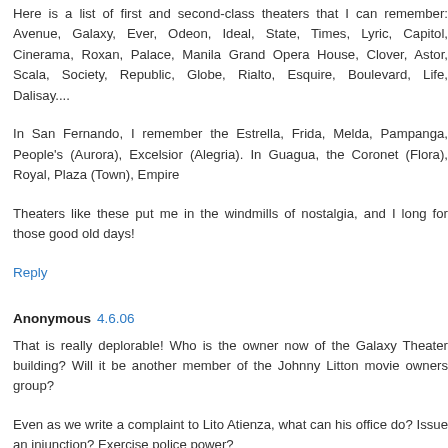Here is a list of first and second-class theaters that I can remember: Avenue, Galaxy, Ever, Odeon, Ideal, State, Times, Lyric, Capitol, Cinerama, Roxan, Palace, Manila Grand Opera House, Clover, Astor, Scala, Society, Republic, Globe, Rialto, Esquire, Boulevard, Life, Dalisay....
In San Fernando, I remember the Estrella, Frida, Melda, Pampanga, People's (Aurora), Excelsior (Alegria). In Guagua, the Coronet (Flora), Royal, Plaza (Town), Empire
Theaters like these put me in the windmills of nostalgia, and I long for those good old days!
Reply
Anonymous 4.6.06
That is really deplorable! Who is the owner now of the Galaxy Theater building? Will it be another member of the Johnny Litton movie owners group?
Even as we write a complaint to Lito Atienza, what can his office do? Issue an injunction? Exercise police power?